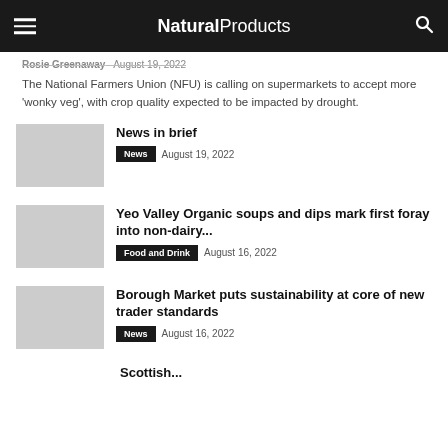Natural Products
Rosie Greenaway   August 19, 2022
The National Farmers Union (NFU) is calling on supermarkets to accept more 'wonky veg', with crop quality expected to be impacted by drought.
News in brief
News   August 19, 2022
Yeo Valley Organic soups and dips mark first foray into non-dairy...
Food and Drink   August 16, 2022
Borough Market puts sustainability at core of new trader standards
News   August 16, 2022